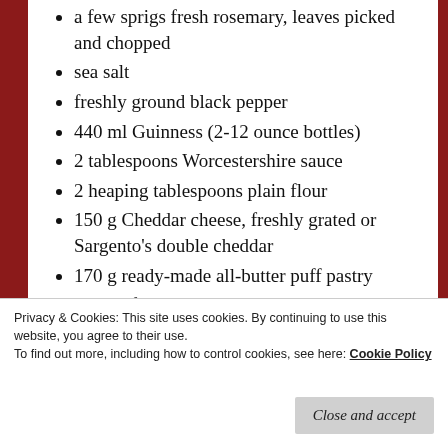a few sprigs fresh rosemary, leaves picked and chopped
sea salt
freshly ground black pepper
440 ml Guinness (2-12 ounce bottles)
2 tablespoons Worcestershire sauce
2 heaping tablespoons plain flour
150 g Cheddar cheese, freshly grated or Sargento's double cheddar
170 g ready-made all-butter puff pastry
1 large free-range egg, beaten
Privacy & Cookies: This site uses cookies. By continuing to use this website, you agree to their use.
To find out more, including how to control cookies, see here: Cookie Policy
Close and accept